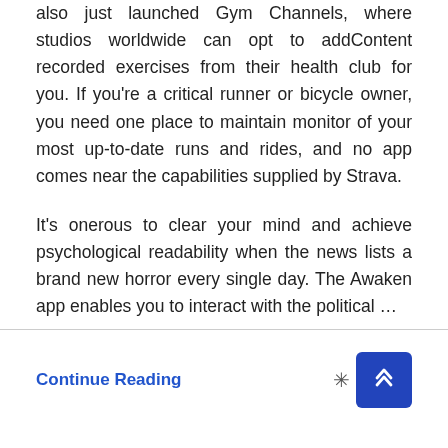also just launched Gym Channels, where studios worldwide can opt to addContent recorded exercises from their health club for you. If you're a critical runner or bicycle owner, you need one place to maintain monitor of your most up-to-date runs and rides, and no app comes near the capabilities supplied by Strava.
It's onerous to clear your mind and achieve psychological readability when the news lists a brand new horror every single day. The Awaken app enables you to interact with the political …
Continue Reading